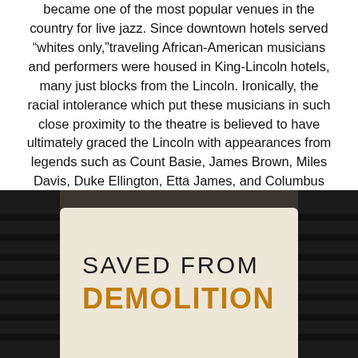became one of the most popular venues in the country for live jazz. Since downtown hotels served “whites only,” traveling African-American musicians and performers were housed in King-Lincoln hotels, many just blocks from the Lincoln. Ironically, the racial intolerance which put these musicians in such close proximity to the theatre is believed to have ultimately graced the Lincoln with appearances from legends such as Count Basie, James Brown, Miles Davis, Duke Ellington, Etta James, and Columbus native Nancy Wilson.
[Figure (photo): Bottom portion of the page showing a dark background photo of a building/theatre facade with a beige card overlay in the lower center area containing the text SAVED FROM DEMOLITION]
SAVED FROM DEMOLITION